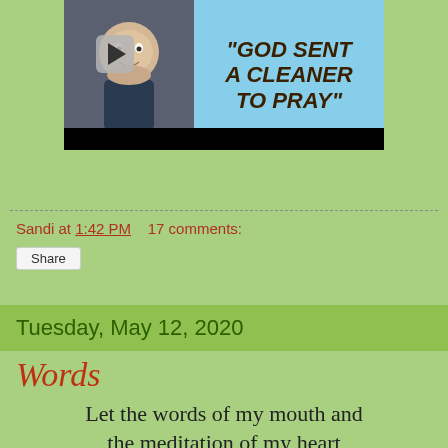[Figure (screenshot): Video thumbnail showing a man's face on the left and text 'GOD SENT A CLEANER TO PRAY' on a light blue background on the right, with a play button overlay and black bar at the bottom.]
Sandi at 1:42 PM    17 comments:
Share
Tuesday, May 12, 2020
Words
Let the words of my mouth and the meditation of my heart